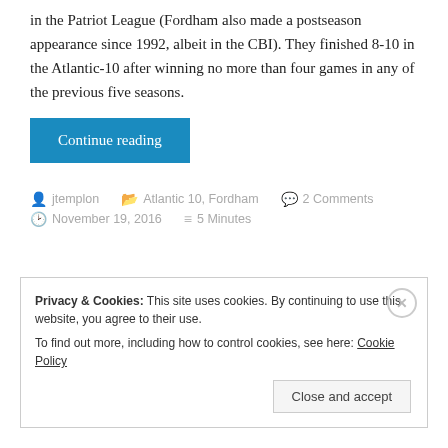in the Patriot League (Fordham also made a postseason appearance since 1992, albeit in the CBI). They finished 8-10 in the Atlantic-10 after winning no more than four games in any of the previous five seasons.
Continue reading
jtemplon   Atlantic 10, Fordham   2 Comments   November 19, 2016   5 Minutes
Privacy & Cookies: This site uses cookies. By continuing to use this website, you agree to their use. To find out more, including how to control cookies, see here: Cookie Policy
Close and accept